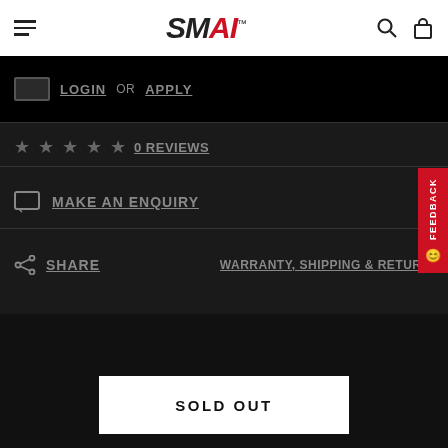SMAI
LOGIN OR APPLY
0 REVIEWS
MAKE AN ENQUIRY
SHARE
WARRANTY, SHIPPING & RETURNS
Feedback
SOLD OUT